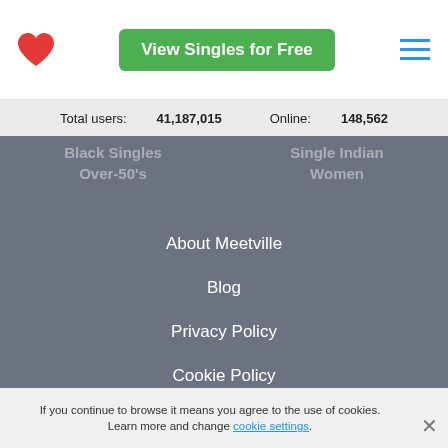[Figure (logo): Red heart logo icon]
View Singles for Free
[Figure (other): Hamburger menu icon (three horizontal blue lines)]
Total users: 41,187,015    Online: 148,562
Black Singles Over-50's
Single Indian Women
About Meetville
Blog
Privacy Policy
Cookie Policy
Terms of Use
Security & Compliance
If you continue to browse it means you agree to the use of cookies. Learn more and change cookie settings.